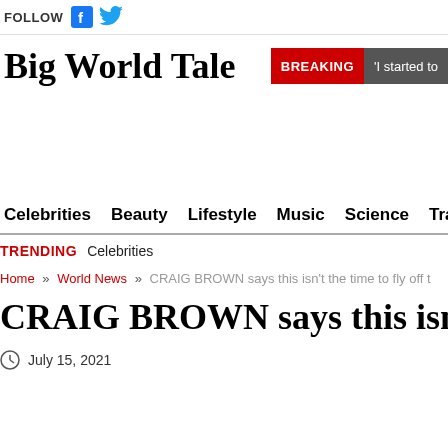FOLLOW
Big World Tale
BREAKING 'I started to
Celebrities  Beauty  Lifestyle  Music  Science  Trave
TRENDING  Celebrities
Home » World News » CRAIG BROWN says this isn't the time to fly off t
CRAIG BROWN says this isn't th
July 15, 2021